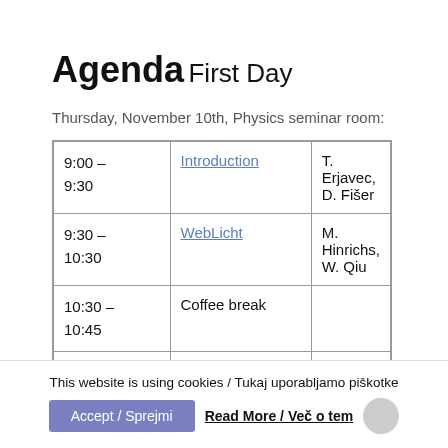Agenda
First Day
Thursday, November 10th, Physics seminar room:
| Time | Topic | Speaker |
| --- | --- | --- |
| 9:00 – 9:30 | Introduction | T. Erjavec, D. Fišer |
| 9:30 – 10:30 | WebLicht | M. Hinrichs, W. Qiu |
| 10:30 – 10:45 | Coffee break |  |
| 10:45 |  | C. Pollak, M. Martine, M... |
This website is using cookies / Tukaj uporabljamo piškotke
Accept / Sprejmi
Read More / Več o tem